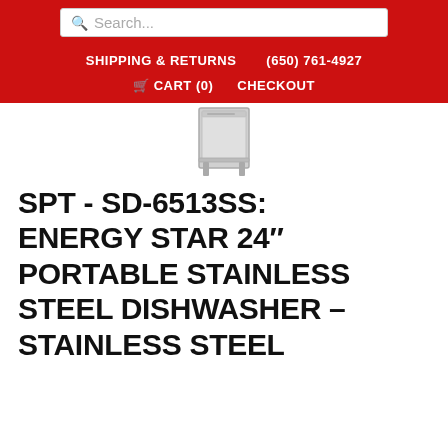Search...  SHIPPING & RETURNS  (650) 761-4927  CART (0)  CHECKOUT
[Figure (photo): Small stainless steel portable dishwasher product image, partially visible at top]
SPT - SD-6513SS: ENERGY STAR 24″ PORTABLE STAINLESS STEEL DISHWASHER – STAINLESS STEEL